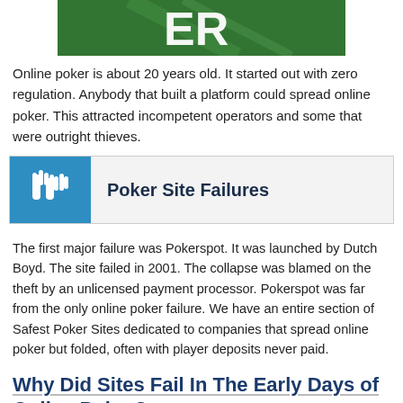[Figure (photo): Partial image at top of page showing what appears to be a green surface with text 'ER' visible, cropped at top]
Online poker is about 20 years old. It started out with zero regulation. Anybody that built a platform could spread online poker. This attracted incompetent operators and some that were outright thieves.
[Figure (infographic): Banner with blue icon showing two raised hands on left, and 'Poker Site Failures' heading on grey background on right]
The first major failure was Pokerspot. It was launched by Dutch Boyd. The site failed in 2001. The collapse was blamed on the theft by an unlicensed payment processor. Pokerspot was far from the only online poker failure. We have an entire section of Safest Poker Sites dedicated to companies that spread online poker but folded, often with player deposits never paid.
Why Did Sites Fail In The Early Days of Online Poker?
Many of the early sites were not created by experienced business people. They were also not properly capitalized. This created